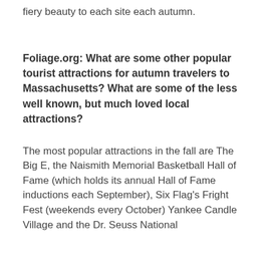fiery beauty to each site each autumn.
Foliage.org: What are some other popular tourist attractions for autumn travelers to Massachusetts? What are some of the less well known, but much loved local attractions?
The most popular attractions in the fall are The Big E, the Naismith Memorial Basketball Hall of Fame (which holds its annual Hall of Fame inductions each September), Six Flag's Fright Fest (weekends every October) Yankee Candle Village and the Dr. Seuss National